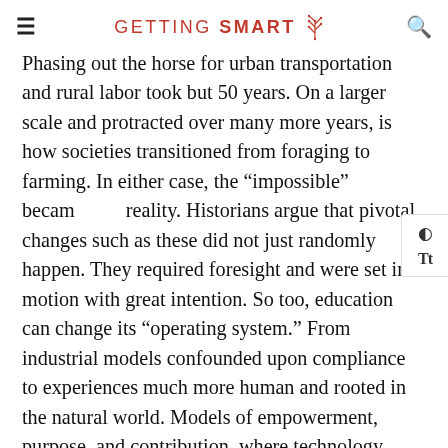GETTING SMART
Phasing out the horse for urban transportation and rural labor took but 50 years. On a larger scale and protracted over many more years, is how societies transitioned from foraging to farming. In either case, the “impossible” became reality. Historians argue that pivotal changes such as these did not just randomly happen. They required foresight and were set into motion with great intention. So too, education can change its “operating system.” From industrial models confounded upon compliance to experiences much more human and rooted in the natural world. Models of empowerment, purpose, and contribution, where technology